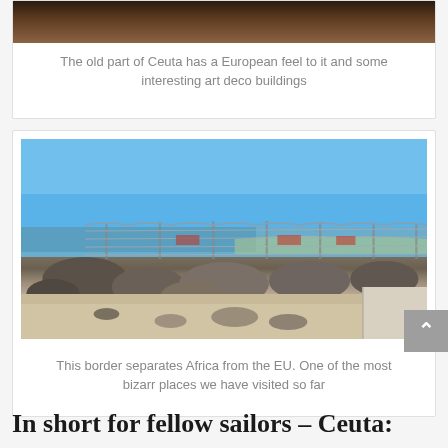[Figure (photo): Top portion of a photo showing the old part of Ceuta with European-style buildings]
The old part of Ceuta has a European feel to it and some interesting art deco buildings
[Figure (photo): A border fence separating Africa from the EU, with blue sky, ocean, rocky beach and sand in the foreground]
This border separates Africa from the EU. One of the most bizarr places we have visited so far
In short for fellow sailors – Ceuta: